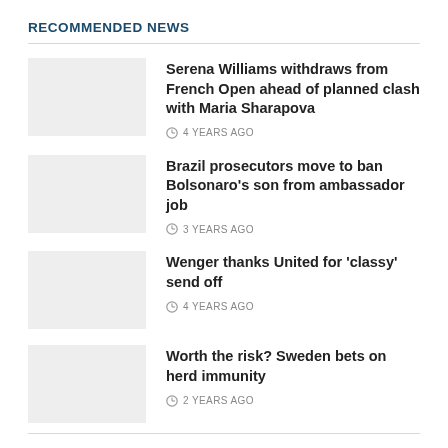RECOMMENDED NEWS
Serena Williams withdraws from French Open ahead of planned clash with Maria Sharapova — 4 YEARS AGO
Brazil prosecutors move to ban Bolsonaro's son from ambassador job — 3 YEARS AGO
Wenger thanks United for 'classy' send off — 4 YEARS AGO
Worth the risk? Sweden bets on herd immunity — 2 YEARS AGO
FOLLOW US